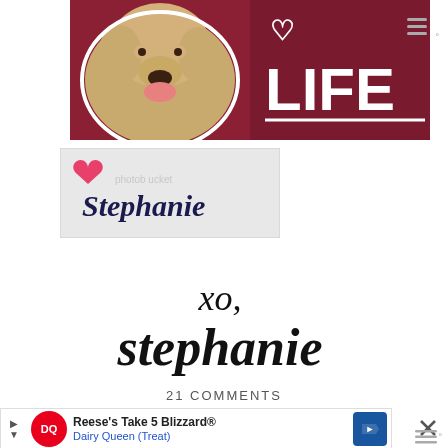[Figure (photo): Banner image with a golden labrador dog on the left against a dark red/maroon background with large white bold text reading 'LIFE' on the right side, and a small triple-bar icon in the top right corner]
[Figure (logo): Name badge graphic with a pink/red heart icon in the top left and cursive script text reading 'Stephanie' on a light gray background, with a Photobucket watermark overlay]
[Figure (illustration): Cursive script signature reading 'xo, stephanie' in large black decorative font on white background]
21 COMMENTS
[Figure (screenshot): Advertisement banner for Dairy Queen featuring Reese's Take 5 Blizzard with DQ logo, navigation arrows, and a blue direction sign icon. An X close button and triple-bar menu icon appear on the right.]